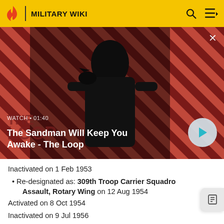MILITARY WIKI
[Figure (illustration): Video thumbnail showing a dark figure with a raven on shoulder against a red diagonal striped background. Title text overlay: 'The Sandman Will Keep You Awake - The Loop'. Watch duration shown as 01:40.]
Inactivated on 1 Feb 1953
Re-designated as: 309th Troop Carrier Squadron Assault, Rotary Wing on 12 Aug 1954
Activated on 8 Oct 1954
Inactivated on 9 Jul 1956